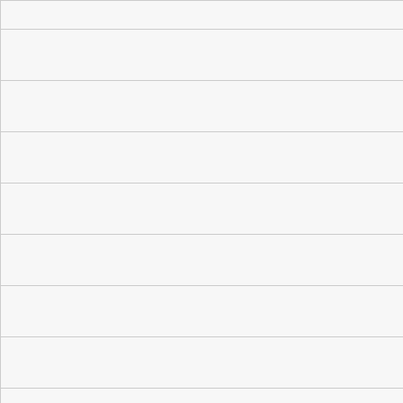| ID | Price | Type |
| --- | --- | --- |
|  | 305.800994 ETH | Collection |
| 10005700 | PRICE
305.800994 ETH | Price
Collection |
| 10005701 | PRICE
305.800994 ETH | Price
Collection |
| 10005702 | PRICE
305.800994 ETH | Price
Collection |
| 10005703 | PRICE
305.800994 ETH | Price
Collection |
| 10005704 | PRICE
305.800994 ETH | Price
Collection |
| 10005705 | PRICE
305.800994 ETH | Price
Collection |
| 10005706 | PRICE
305.800994 ETH | Price
Collection |
| 10005707 | PRICE
305.800994 ETH | Price
Collection |
| 10005708 | PRICE
305.800994 ETH | Price
Collection |
| 10005709 | PRICE
305.800994 ETH | Price
Collection |